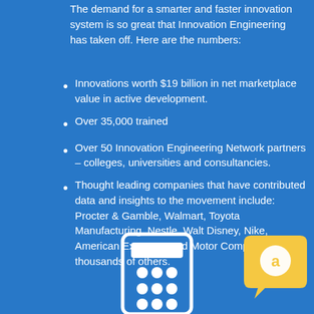The demand for a smarter and faster innovation system is so great that Innovation Engineering has taken off. Here are the numbers:
Innovations worth $19 billion in net marketplace value in active development.
Over 35,000 trained
Over 50 Innovation Engineering Network partners – colleges, universities and consultancies.
Thought leading companies that have contributed data and insights to the movement include: Procter & Gamble, Walmart, Toyota Manufacturing, Nestle, Walt Disney, Nike, American Express, Ford Motor Company, and thousands of others.
[Figure (illustration): White calculator icon at the bottom center of the page on a blue background]
[Figure (logo): Yellow speech bubble with a white circular 'a' icon at the bottom right]